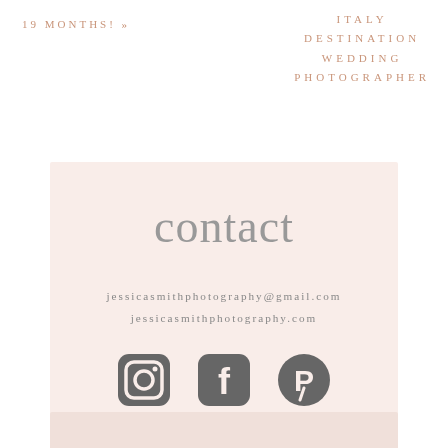19 MONTHS! »
ITALY DESTINATION WEDDING PHOTOGRAPHER
contact
jessicasmithphotography@gmail.com
jessicasmithphotography.com
[Figure (illustration): Social media icons: Instagram, Facebook, Pinterest]